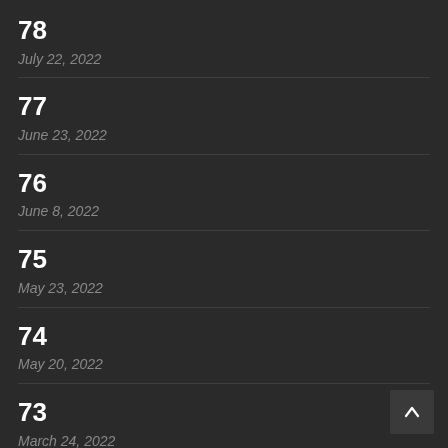78
July 22, 2022
77
June 23, 2022
76
June 8, 2022
75
May 23, 2022
74
May 20, 2022
73
March 24, 2022